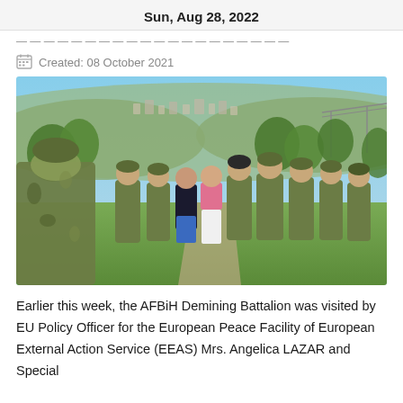Sun, Aug 28, 2022
[partial article title — truncated]
Created: 08 October 2021
[Figure (photo): Military personnel and two civilians standing outdoors on a grassy area with trees and a hillside town visible in the background. A soldier in camouflage uniform faces the group and appears to be briefing them.]
Earlier this week, the AFBiH Demining Battalion was visited by EU Policy Officer for the European Peace Facility of European External Action Service (EEAS) Mrs. Angelica LAZAR and Special